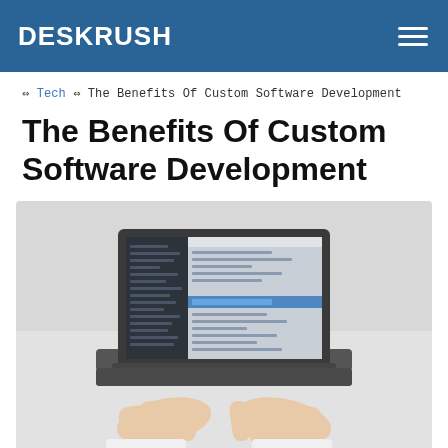DESKRUSH
⇔ Tech ⇔ The Benefits Of Custom Software Development
The Benefits Of Custom Software Development
[Figure (photo): Overhead view of a person's hands typing on a dark laptop keyboard, with a code editor visible on the laptop screen, placed on a light gray surface.]